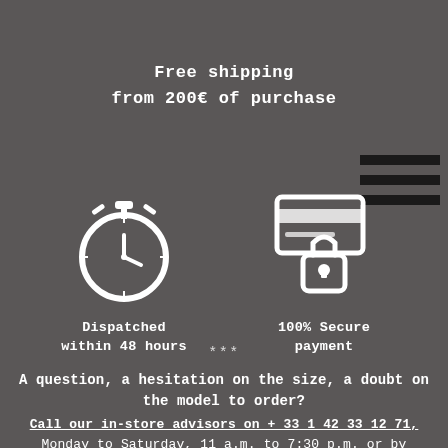Free shipping
from 200€ of purchase
[Figure (infographic): Stopwatch icon representing dispatched within 48 hours]
Dispatched within 48 hours
[Figure (infographic): Secure credit card with padlock icon representing 100% Secure payment]
100% Secure payment
***
A question, a hesitation on the size, a doubt on the model to order?
Call our in-store advisors on + 33 1 42 33 12 71, Monday to Saturday, 11 a.m. to 7:30 p.m. or by email "jour@anno-